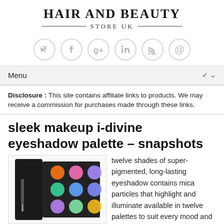HAIR AND BEAUTY STORE UK
[Figure (infographic): Six social media icons in circles: Twitter, Facebook, Google+, LinkedIn, RSS, and email/at symbol]
[Figure (screenshot): Menu dropdown navigation bar with chevron]
Disclosure : This site contains affiliate links to products. We may receive a commission for purchases made through these links.
sleek makeup i-divine eyeshadow palette – snapshots
[Figure (photo): Sleek Makeup i-Divine eyeshadow palette open showing colorful eyeshadow pans in pink, orange, teal, purple, and other colors]
twelve shades of super-pigmented, long-lasting eyeshadow contains mica particles that highlight and illuminate available in twelve palettes to suit every mood and trend